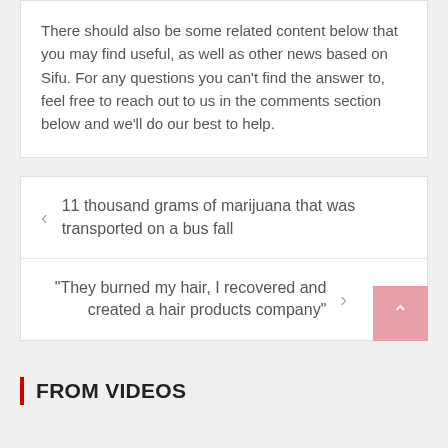There should also be some related content below that you may find useful, as well as other news based on Sifu. For any questions you can't find the answer to, feel free to reach out to us in the comments section below and we'll do our best to help.
11 thousand grams of marijuana that was transported on a bus fall
“They burned my hair, I recovered and created a hair products company”
FROM VIDEOS